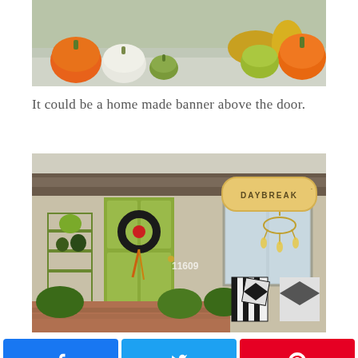[Figure (photo): Photo of pumpkins and fall decorations on steps — orange, white, and green pumpkins with autumn leaves and corn]
It could be a home made banner above the door.
[Figure (photo): Photo of a house front porch decorated for Halloween with a green door, black wreath, house number 11609, black and white patterned chairs, chandelier hanging near window, shelving unit with decorations, and a 'DAYBREAK' label overlay in the upper right corner]
[Figure (infographic): Social share buttons: Facebook (blue), Twitter (blue), Pinterest (red)]